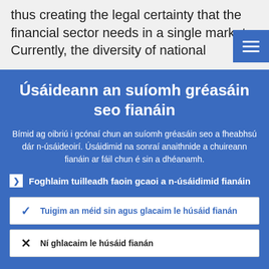thus creating the legal certainty that the financial sector needs in a single market. Currently, the diversity of national
Úsáideann an suíomh gréasáin seo fianáin
Bímid ag oibriú i gcónaí chun an suíomh gréasáin seo a fheabhsú dár n-úsáideoirí. Úsáidimid na sonraí anaithnide a chuireann fianáin ar fáil chun é sin a dhéanamh.
Foghlaim tuilleadh faoin gcaoi a n-úsáidimid fianáin
Tuigim an méid sin agus glacaim le húsáid fianán
Ní ghlacaim le húsáid fianán